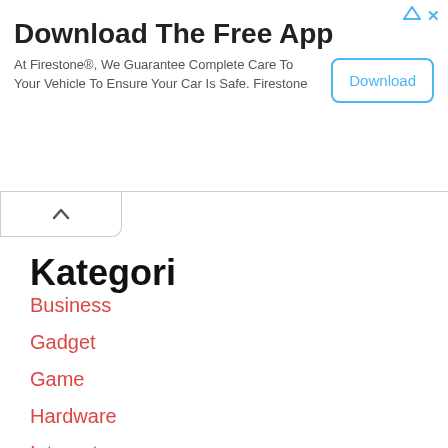[Figure (screenshot): Advertisement banner for Firestone app with Download button]
Download The Free App
At Firestone®, We Guarantee Complete Care To Your Vehicle To Ensure Your Car Is Safe. Firestone
Kategori
Business
Gadget
Game
Hardware
Internet
Software
Trips& trick